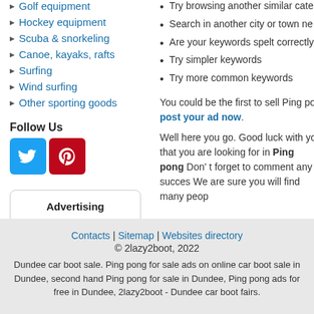Golf equipment
Hockey equipment
Scuba & snorkeling
Canoe, kayaks, rafts
Surfing
Wind surfing
Other sporting goods
Try browsing another similar cate
Search in another city or town ne
Are your keywords spelt correctly
Try simpler keywords
Try more common keywords
You could be the first to sell Ping po post your ad now. Well here you go. Good luck with yo that you are looking for in Ping pong Don' t forget to comment any succes We are sure you will find many peop
Follow Us
[Figure (logo): Twitter and Pinterest social media icon buttons]
Advertising
Contacts | Sitemap | Websites directory
© 2lazy2boot, 2022
Dundee car boot sale. Ping pong for sale ads on online car boot sale in Dundee, second hand Ping pong for sale in Dundee, Ping pong ads for free in Dundee, 2lazy2boot - Dundee car boot fairs.